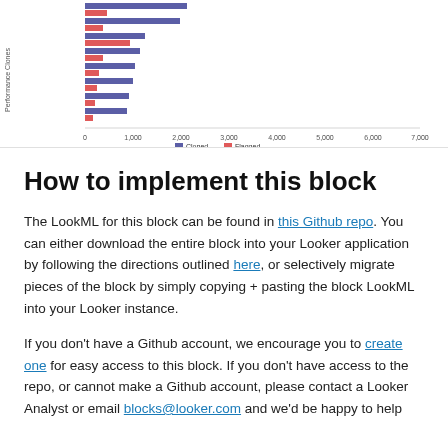[Figure (bar-chart): Horizontal bar chart showing performance metrics with Cloned (blue) and Flagged (red) bars for multiple URLs]
How to implement this block
The LookML for this block can be found in this Github repo. You can either download the entire block into your Looker application by following the directions outlined here, or selectively migrate pieces of the block by simply copying + pasting the block LookML into your Looker instance.
If you don't have a Github account, we encourage you to create one for easy access to this block. If you don't have access to the repo, or cannot make a Github account, please contact a Looker Analyst or email blocks@looker.com and we'd be happy to help.